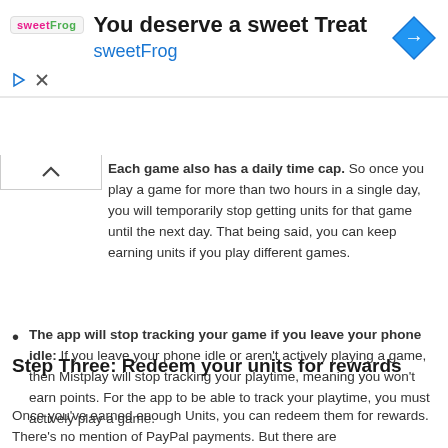[Figure (other): SweetFrog advertisement banner with logo, headline 'You deserve a sweet Treat', subtext 'sweetFrog', navigation arrow diamond icon, play and close controls]
Each game also has a daily time cap. So once you play a game for more than two hours in a single day, you will temporarily stop getting units for that game until the next day. That being said, you can keep earning units if you play different games.
The app will stop tracking your game if you leave your phone idle: If you leave your phone idle or aren't actively playing a game, then Mistplay will stop tracking your playtime, meaning you won't earn points. For the app to be able to track your playtime, you must actively play a game.
Step Three: Redeem your units for rewards
Once you've earned enough Units, you can redeem them for rewards. There's no mention of PayPal payments. But there are